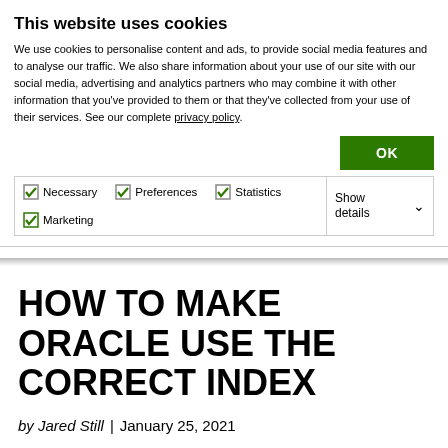This website uses cookies
We use cookies to personalise content and ads, to provide social media features and to analyse our traffic. We also share information about your use of our site with our social media, advertising and analytics partners who may combine it with other information that you've provided to them or that they've collected from your use of their services. See our complete privacy policy.
OK
✓ Necessary  ✓ Preferences  ✓ Statistics  ✓ Marketing  Show details ∨
HOW TO MAKE ORACLE USE THE CORRECT INDEX
by Jared Still  |  January 25, 2021
Posted in: Technical Track